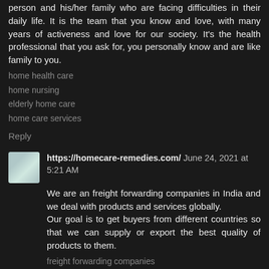person and his/her family who are facing difficulties in their daily life. It is the team that you know and love, with many years of activeness and love for our society. It's the health professional that you ask for, you personally know and are like family to you.
home health care
home nursing
elderly home care
home care services
Reply
https://homecare-remedies.com/  June 24, 2021 at 5:21 AM
We are an freight forwarding companies in India and we deal with products and services globally.
Our goal is to get buyers from different countries so that we can supply or export the best quality of products to them.
freight forwarding companies
exporters india
export companies in india
Custom clearance